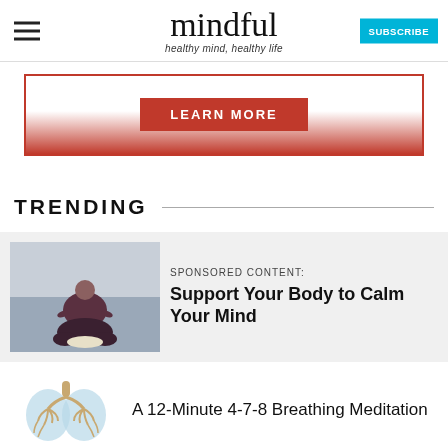mindful — healthy mind, healthy life | SUBSCRIBE
[Figure (other): Advertisement banner with red border and LEARN MORE button]
TRENDING
[Figure (photo): Person sitting in meditation pose on water, viewed from behind]
SPONSORED CONTENT:
Support Your Body to Calm Your Mind
[Figure (illustration): Illustrated lungs with bronchial tree design in blue tones]
A 12-Minute 4-7-8 Breathing Meditation